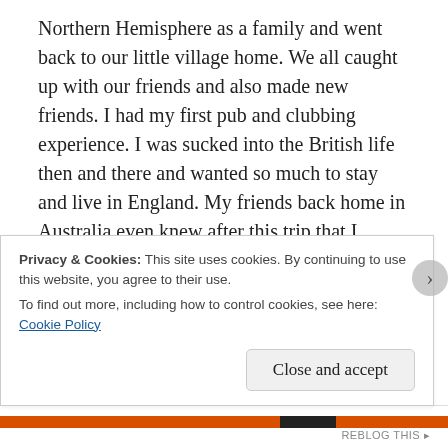Northern Hemisphere as a family and went back to our little village home. We all caught up with our friends and also made new friends. I had my first pub and clubbing experience. I was sucked into the British life then and there and wanted so much to stay and live in England. My friends back home in Australia even knew after this trip that I would always end up back in England.
While I was in my final year at school my best friend from England came to stay with my family for 3 months and then when it was time for her to head back I packed my bags with her and started my gap
Privacy & Cookies: This site uses cookies. By continuing to use this website, you agree to their use.
To find out more, including how to control cookies, see here: Cookie Policy